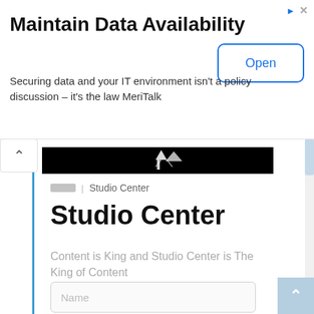Maintain Data Availability
Securing data and your IT environment isn't a policy discussion – it's the law MeriTalk
[Figure (screenshot): Black hero image with partial white bird/figure graphic visible]
Studio Center
Studio Center
Content is King and Studio Center is The King of Content
Name
Email